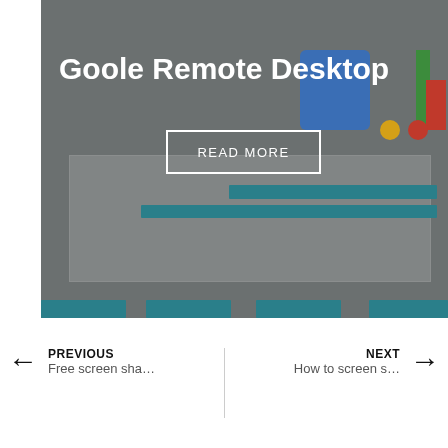[Figure (screenshot): Screenshot of Google Remote Desktop webpage shown with dark overlay. Displays the Google logo partially, a search bar, and teal navigation bars at the bottom. Bold white text 'Goole Remote Desktop' overlaid with a 'READ MORE' button.]
Goole Remote Desktop
READ MORE
PREVIOUS
Free screen sha…
NEXT
How to screen s…